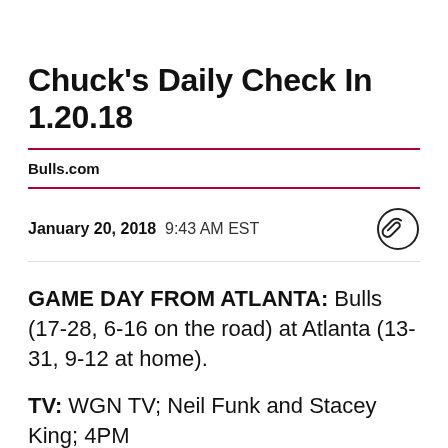Chuck's Daily Check In 1.20.18
Bulls.com
January 20, 2018  9:43 AM EST
GAME DAY FROM ATLANTA: Bulls (17-28, 6-16 on the road) at Atlanta (13-31, 9-12 at home).
TV: WGN TV; Neil Funk and Stacey King; 4PM